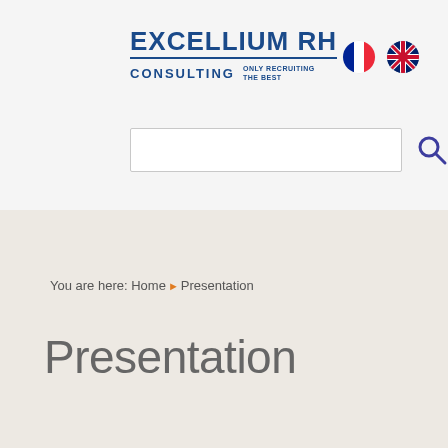[Figure (logo): Excellium RH Consulting logo with text EXCELLIUM RH and CONSULTING ONLY RECRUITING THE BEST]
[Figure (illustration): French flag circle icon]
[Figure (illustration): UK flag circle icon]
You are here: Home ▶ Presentation
Presentation